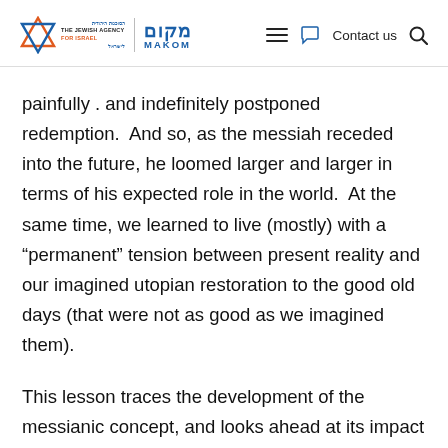The Jewish Agency for Israel | MAKOM — Contact us
painfully . and indefinitely postponed redemption.  And so, as the messiah receded into the future, he loomed larger and larger in terms of his expected role in the world.  At the same time, we learned to live (mostly) with a “permanent” tension between present reality and our imagined utopian restoration to the good old days (that were not as good as we imagined them).
This lesson traces the development of the messianic concept, and looks ahead at its impact on later Jewish history.  Our relationship to the land of Israel – and the